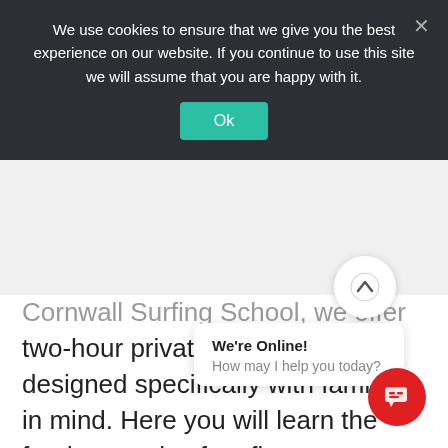We use cookies to ensure that we give you the best experience on our website. If you continue to use this site we will assume that you are happy with it.
Ok
Cornwall Surfing School, we offer two-hour private surfing lessons designed specifically with families in mind. Here you will learn the fundamentals of surfing, ocean awareness, beach safety, surfing equipment and surfing terminology. We provide the perfect balance of fun, education and safety. What's more, imagine how cool you'll become when your children return to school and tell their peers of their adventures.
We're Online! How may I help you today?